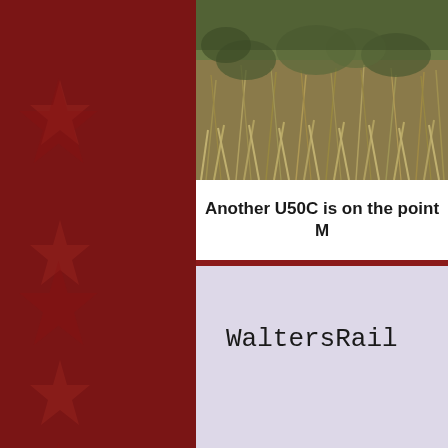[Figure (photo): Photograph of dried grass and vegetation, brownish-green tones, outdoor scene]
Another U50C is on the point M
[Figure (screenshot): Document page with light lavender/purple background showing 'WaltersRail' in monospace typewriter font with a faint horizontal line through the middle]